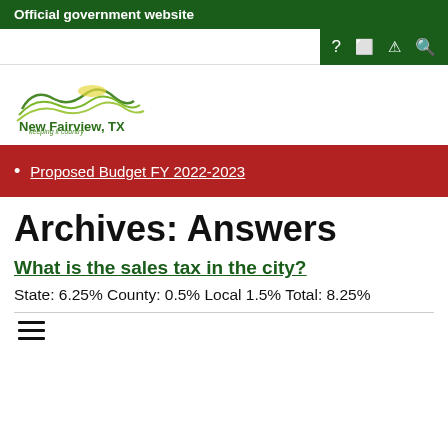Official government website
[Figure (logo): New Fairview, TX logo with green wave hills and text 'New Fairview, TX keeping it country']
Proposed Budget FY 2022-2023
Archives: Answers
What is the sales tax in the city?
State: 6.25% County: 0.5% Local 1.5% Total: 8.25%